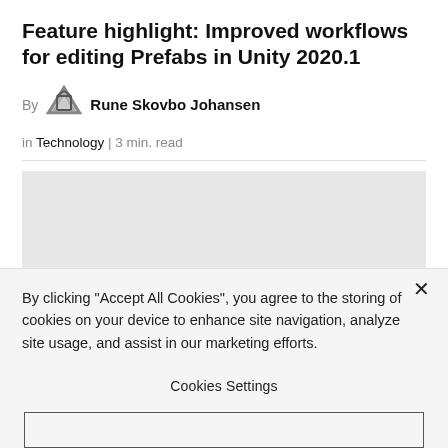Feature highlight: Improved workflows for editing Prefabs in Unity 2020.1
By Rune Skovbo Johansen
in Technology | 3 min. read
[Figure (photo): Gray placeholder image for article hero image]
By clicking “Accept All Cookies”, you agree to the storing of cookies on your device to enhance site navigation, analyze site usage, and assist in our marketing efforts.
Cookies Settings